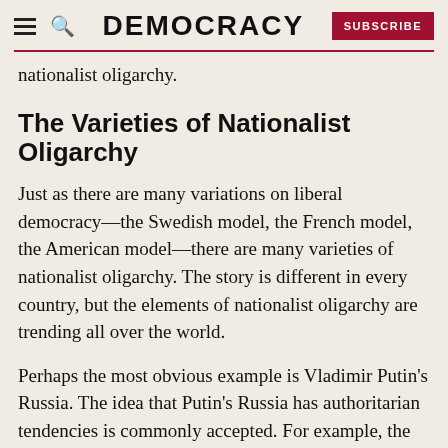DEMOCRACY
nationalist oligarchy.
The Varieties of Nationalist Oligarchy
Just as there are many variations on liberal democracy—the Swedish model, the French model, the American model—there are many varieties of nationalist oligarchy. The story is different in every country, but the elements of nationalist oligarchy are trending all over the world.
Perhaps the most obvious example is Vladimir Putin's Russia. The idea that Putin's Russia has authoritarian tendencies is commonly accepted. For example, the Russian Constitution allows…